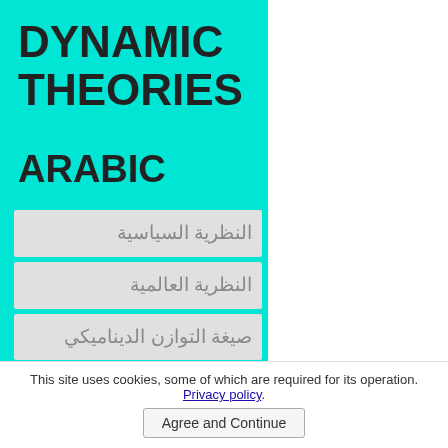DYNAMIC THEORIES
ARABIC
النظرية السياسية
النظرية العالمية
صيغة التوازن الديناميكي
نظرية الجماهير
نظرية المواقف
This site uses cookies, some of which are required for its operation. Privacy policy.
Agree and Continue